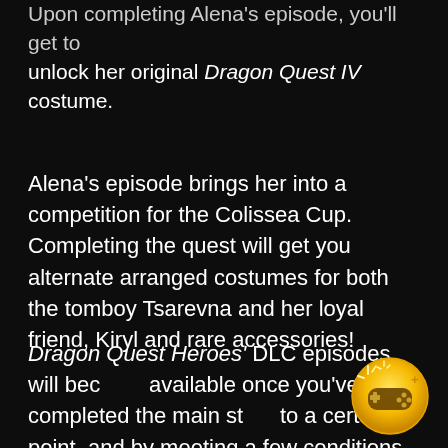Upon completing Alena's episode, you'll get to unlock her original Dragon Quest IV costume.
Alena's episode brings her into a competition for the Colissea Cup. Completing the quest will get you alternate arranged costumes for both the tomboy Tsarevna and her loyal friend, Kiryl and rare accessories!
Dragon Quest Heroes' DLC episodes will become available once you've completed the main story to a certain point, and by meeting a few conditions. Most of them will be available to play after beating the king hydra, so you might want to keep an eye
[Figure (illustration): Gold circular badge/icon with a game controller and sparkles, resembling an achievement or trophy emblem]